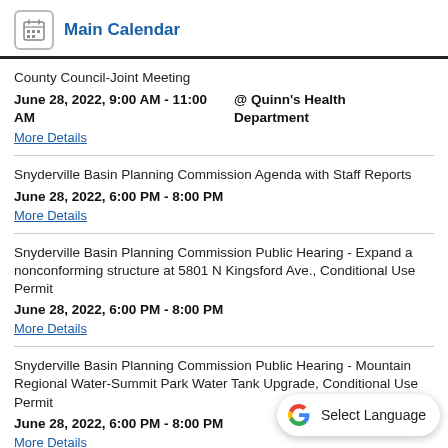Main Calendar
County Council-Joint Meeting
June 28, 2022, 9:00 AM - 11:00 AM @ Quinn's Health Department
More Details
Snyderville Basin Planning Commission Agenda with Staff Reports
June 28, 2022, 6:00 PM - 8:00 PM
More Details
Snyderville Basin Planning Commission Public Hearing - Expand a nonconforming structure at 5801 N Kingsford Ave., Conditional Use Permit
June 28, 2022, 6:00 PM - 8:00 PM
More Details
Snyderville Basin Planning Commission Public Hearing - Mountain Regional Water-Summit Park Water Tank Upgrade, Conditional Use Permit
June 28, 2022, 6:00 PM - 8:00 PM
More Details
Snyderville Basin Planning Commission Public Hearing CANCELLED AND MOVED TO JULY 12, 2022 - Silver Creek